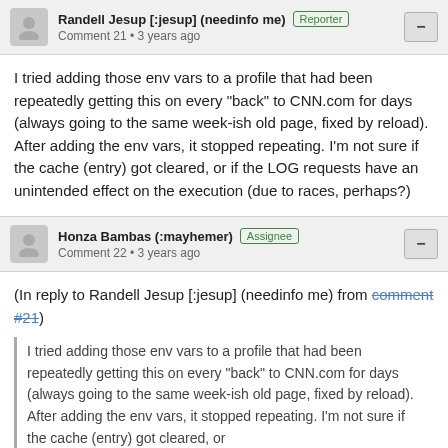Randell Jesup [:jesup] (needinfo me) [Reporter] Comment 21 • 3 years ago
I tried adding those env vars to a profile that had been repeatedly getting this on every "back" to CNN.com for days (always going to the same week-ish old page, fixed by reload). After adding the env vars, it stopped repeating. I'm not sure if the cache (entry) got cleared, or if the LOG requests have an unintended effect on the execution (due to races, perhaps?)
Honza Bambas (:mayhemer) [Assignee] Comment 22 • 3 years ago
(In reply to Randell Jesup [:jesup] (needinfo me) from comment #21)
I tried adding those env vars to a profile that had been repeatedly getting this on every "back" to CNN.com for days (always going to the same week-ish old page, fixed by reload). After adding the env vars, it stopped repeating. I'm not sure if the cache (entry) got cleared, or